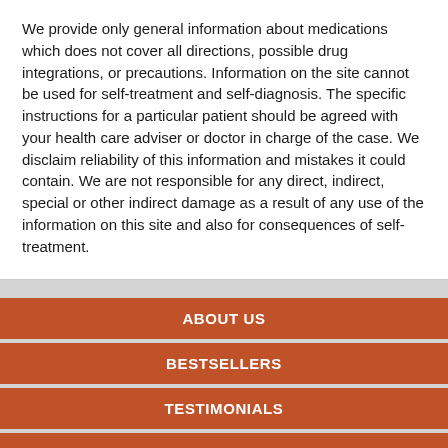We provide only general information about medications which does not cover all directions, possible drug integrations, or precautions. Information on the site cannot be used for self-treatment and self-diagnosis. The specific instructions for a particular patient should be agreed with your health care adviser or doctor in charge of the case. We disclaim reliability of this information and mistakes it could contain. We are not responsible for any direct, indirect, special or other indirect damage as a result of any use of the information on this site and also for consequences of self-treatment.
ABOUT US
BESTSELLERS
TESTIMONIALS
FAQ
POLICY
CONTACT US